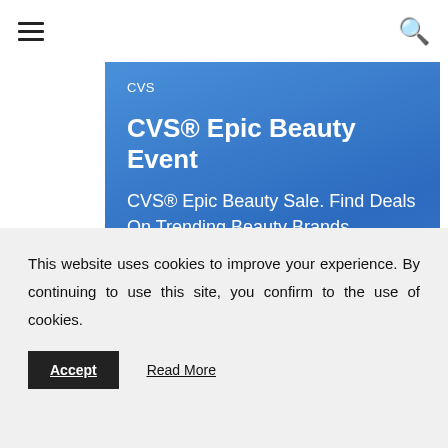≡    🔍
[Figure (screenshot): CVS advertisement card with blue gradient background. Shows 'CVS' as source label, bold title 'CVS® Epic Beauty Event', and description text 'CVS® Epic Beauty Sale. Find Deals On Trending Beauty Brands.']
[Figure (map): Google Maps screenshot showing a local area map with blue water features, grey roads, and a location pin labeled 'Patel Brothers' near route 625.]
This website uses cookies to improve your experience. By continuing to use this site, you confirm to the use of cookies.
Accept   Read More